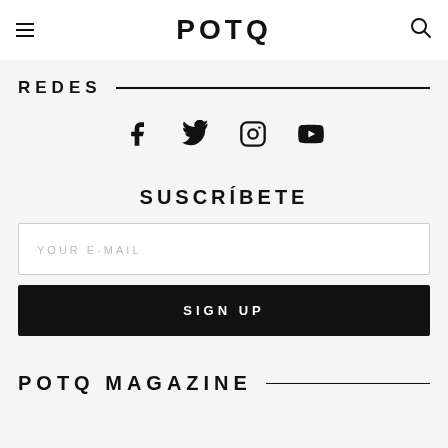POTQ
REDES
[Figure (other): Social media icons: Facebook, Twitter, Instagram, YouTube]
SUSCRÍBETE
YOUR E-MAIL
SIGN UP
POTQ MAGAZINE